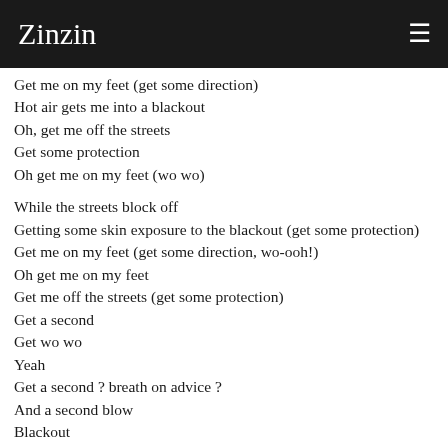Zinzin
Get me on my feet (get some direction)
Hot air gets me into a blackout
Oh, get me off the streets
Get some protection
Oh get me on my feet (wo wo)

While the streets block off
Getting some skin exposure to the blackout (get some protection)
Get me on my feet (get some direction, wo-ooh!)
Oh get me on my feet
Get me off the streets (get some protection)
Get a second
Get wo wo
Yeah
Get a second ? breath on advice ?
And a second blow
Blackout